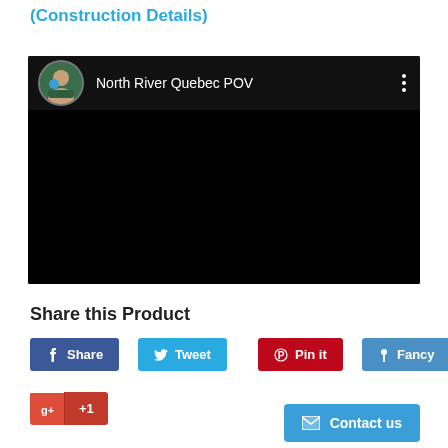(Construction Details)
[Figure (screenshot): Embedded video player with black background showing 'North River Quebec POV' title and user avatar]
Share this Product
Share (Facebook button)
Tweet (Twitter button)
Pin it (Pinterest button)
Fancy (Fancy button)
+1 (Google Plus button)
Contact us